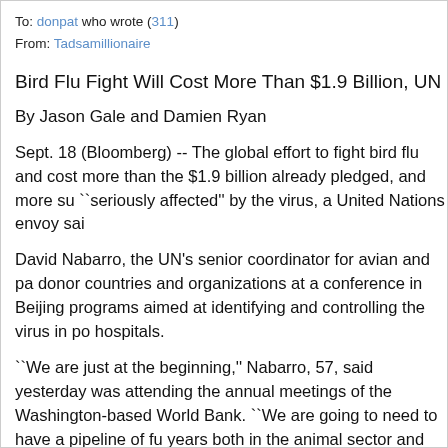To: donpat who wrote (311)
From: Tadsamillionaire
Bird Flu Fight Will Cost More Than $1.9 Billion, UN Envoy Sa
By Jason Gale and Damien Ryan
Sept. 18 (Bloomberg) -- The global effort to fight bird flu and cost more than the $1.9 billion already pledged, and more su ``seriously affected'' by the virus, a United Nations envoy sai
David Nabarro, the UN's senior coordinator for avian and pa donor countries and organizations at a conference in Beijing programs aimed at identifying and controlling the virus in po hospitals.
``We are just at the beginning,'' Nabarro, 57, said yesterday was attending the annual meetings of the Washington-based World Bank. ``We are going to need to have a pipeline of fu years both in the animal sector and also in the human secto
Human fatalities from the H5N1 avian influenza strain have a chances for the virus to mutate into a lethal pandemic form